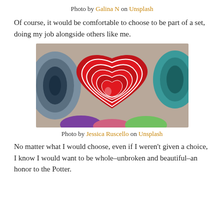Photo by Galina N on Unsplash
Of course, it would be comfortable to choose to be part of a set, doing my job alongside others like me.
[Figure (photo): Top-down view of nested heart-shaped red ceramic bowls surrounded by other colorful bowls (blue, teal, purple, green) on a stone surface.]
Photo by Jessica Ruscello on Unsplash
No matter what I would choose, even if I weren't given a choice, I know I would want to be whole–unbroken and beautiful–an honor to the Potter.